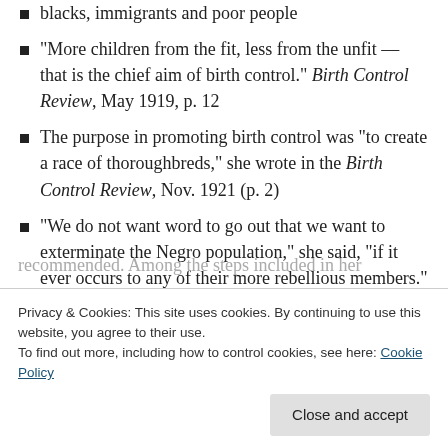blacks, immigrants and poor people
“More children from the fit, less from the unfit — that is the chief aim of birth control.” Birth Control Review, May 1919, p. 12
The purpose in promoting birth control was “to create a race of thoroughbreds,” she wrote in the Birth Control Review, Nov. 1921 (p. 2)
“We do not want word to go out that we want to exterminate the Negro population,” she said, “if it ever occurs to any of their more rebellious members.” Woman’s Body, Woman’s Right: A
Privacy & Cookies: This site uses cookies. By continuing to use this website, you agree to their use.
To find out more, including how to control cookies, see here: Cookie Policy
recommended. Among the steps included in her